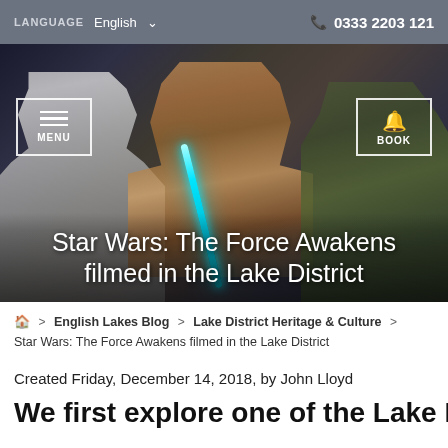LANGUAGE  English  ▾   📞 0333 2203 121
[Figure (photo): Hero image showing a man in casual clothing holding a blue lightsaber, standing between a Stormtrooper costume (left) and a Boba Fett costume (right), with text overlay: 'Star Wars: The Force Awakens filmed in the Lake District'. Navigation overlays include MENU button (top left) and BOOK button (top right).]
Star Wars: The Force Awakens filmed in the Lake District
🏠 > English Lakes Blog > Lake District Heritage & Culture > Star Wars: The Force Awakens filmed in the Lake District
Created Friday, December 14, 2018, by John Lloyd
We first explore one of the Lake Distri...